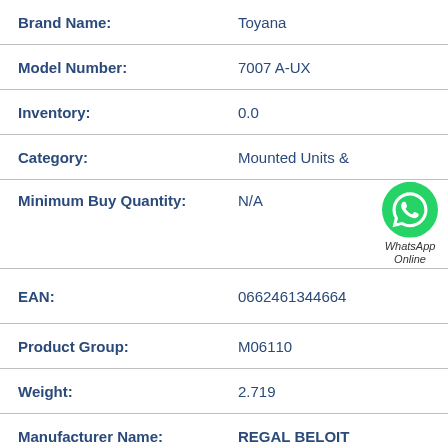| Field | Value |
| --- | --- |
| Brand Name: | Toyana |
| Model Number: | 7007 A-UX |
| Inventory: | 0.0 |
| Category: | Mounted Units & |
| Minimum Buy Quantity: | N/A |
| EAN: | 0662461344664 |
| Product Group: | M06110 |
| Weight: | 2.719 |
| Manufacturer Name: | REGAL BELOIT |
| Brand: | SEALMASTER |